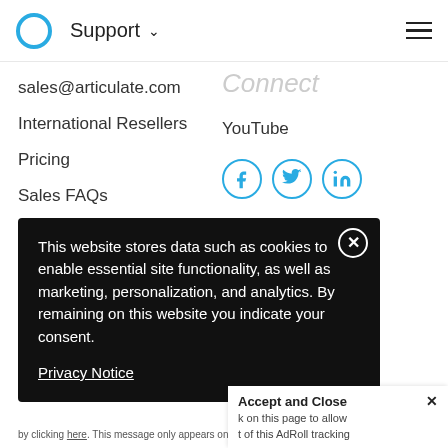Support
sales@articulate.com
International Resellers
Pricing
Sales FAQs
Connect
YouTube
[Figure (other): Social media icon buttons: Facebook (f), Twitter (bird), LinkedIn (in)]
This website stores data such as cookies to enable essential site functionality, as well as marketing, personalization, and analytics. By remaining on this website you indicate your consent.
Privacy Notice
Accept and Close ✕
k on this page to allow t of this AdRoll tracking
by clicking here. This message only appears once.